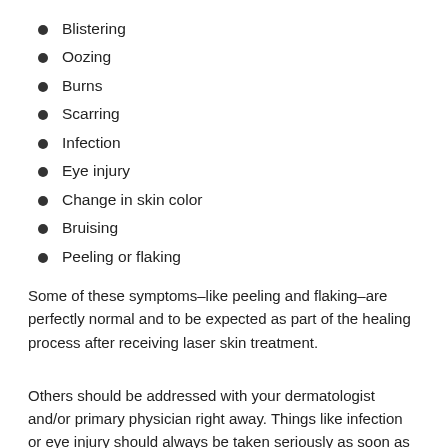Blistering
Oozing
Burns
Scarring
Infection
Eye injury
Change in skin color
Bruising
Peeling or flaking
Some of these symptoms–like peeling and flaking–are perfectly normal and to be expected as part of the healing process after receiving laser skin treatment.
Others should be addressed with your dermatologist and/or primary physician right away. Things like infection or eye injury should always be taken seriously as soon as you notice symptoms, as delaying treatment can